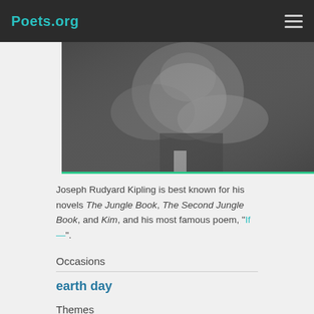Poets.org
[Figure (photo): Black and white photograph, cropped, showing a person in dark clothing with hands visible, moody lighting]
Joseph Rudyard Kipling is best known for his novels The Jungle Book, The Second Jungle Book, and Kim, and his most famous poem, "If—".
Occasions
earth day
Themes
nature